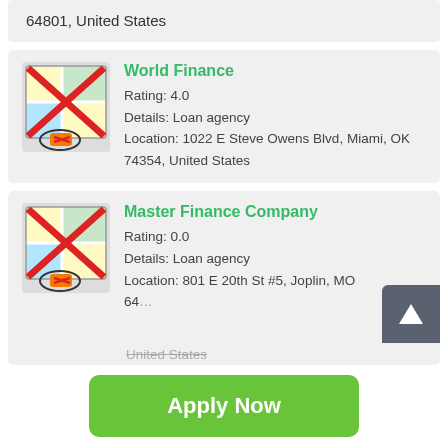64801, United States
World Finance
Rating: 4.0
Details: Loan agency
Location: 1022 E Steve Owens Blvd, Miami, OK 74354, United States
Master Finance Company
Rating: 0.0
Details: Loan agency
Location: 801 E 20th St #5, Joplin, MO 64...
United States
Apply Now
Applying does NOT affect your credit score!
No credit check to apply.